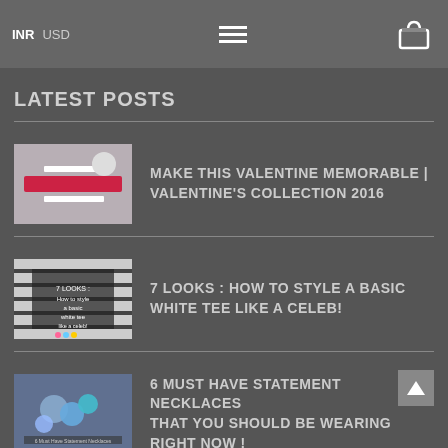INR  USD  [menu icon]  [cart icon]
LATEST POSTS
MAKE THIS VALENTINE MEMORABLE | VALENTINE'S COLLECTION 2016
7 LOOKS : HOW TO STYLE A BASIC WHITE TEE LIKE A CELEB!
6 MUST HAVE STATEMENT NECKLACES THAT YOU SHOULD BE WEARING RIGHT NOW !
NEWSLETTER SUBSCRIBE
Subscribe to our newsletter and keep up with news,